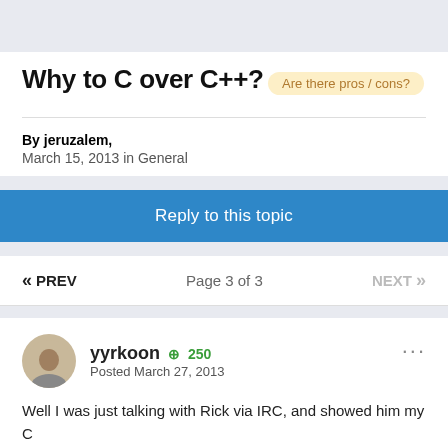Why to C over C++?
Are there pros / cons?
By jeruzalem,
March 15, 2013 in General
Reply to this topic
« PREV   Page 3 of 3   NEXT »
yyrkoon  +250
Posted March 27, 2013
Well I was just talking with Rick via IRC, and showed him my C